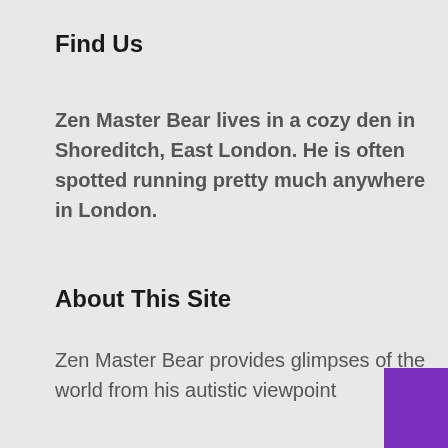Find Us
Zen Master Bear lives in a cozy den in Shoreditch, East London. He is often spotted running pretty much anywhere in London.
About This Site
Zen Master Bear provides glimpses of the world from his autistic viewpoint
[Figure (other): Purple menu button bar with hamburger icon and 'Menu' label]